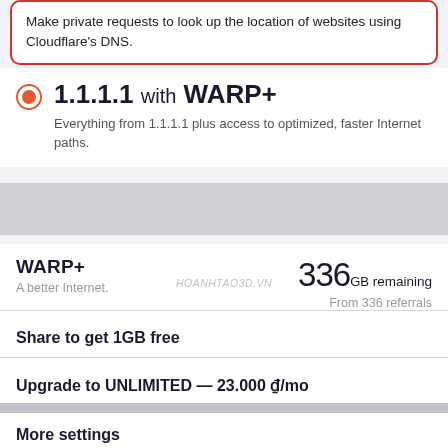Make private requests to look up the location of websites using Cloudflare's DNS.
1.1.1.1 with WARP+
Everything from 1.1.1.1 plus access to optimized, faster Internet paths.
WARP+
A better Internet.
336GB remaining
From 336 referrals
Share to get 1GB free
Upgrade to UNLIMITED — 23.000 ₫/mo
More settings